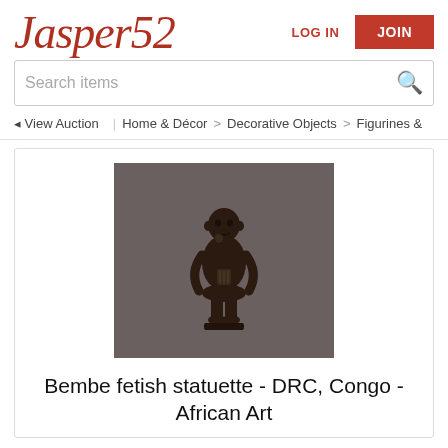Jasper52
LOG IN
JOIN
Search items
◄ View Auction | Home & Décor > Decorative Objects > Figurines &
[Figure (photo): A dark wooden Bembe fetish statuette from DRC, Congo, depicted as a standing human figure with bent knees, hands clasped, against a grey background.]
Bembe fetish statuette - DRC, Congo - African Art